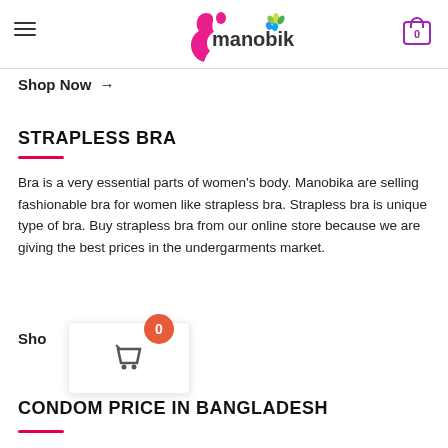manobika
Shop Now →
STRAPLESS BRA
Bra is a very essential parts of women's body. Manobika are selling fashionable bra for women like strapless bra. Strapless bra is unique type of bra. Buy strapless bra from our online store because we are giving the best prices in the undergarments market.
Shop Now →
CONDOM PRICE IN BANGLADESH